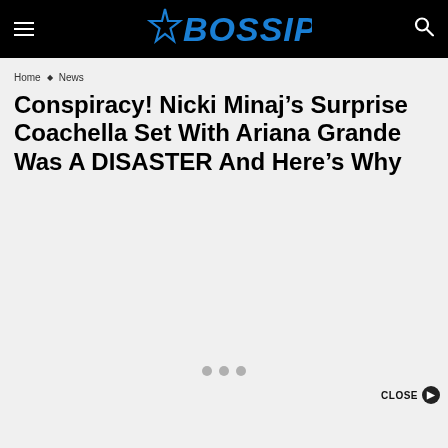BOSSIP
Home › News
Conspiracy! Nicki Minaj's Surprise Coachella Set With Ariana Grande Was A DISASTER And Here's Why